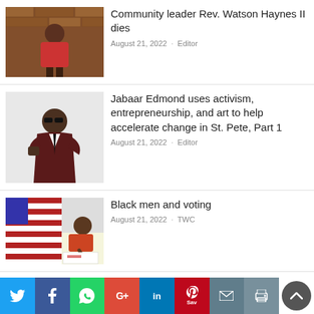[Figure (photo): Photo of Rev. Watson Haynes II, a man in a red shirt standing against a stone wall background]
Community leader Rev. Watson Haynes II dies
August 21, 2022 · Editor
[Figure (photo): Photo of Jabaar Edmond in a dark suit with sunglasses]
Jabaar Edmond uses activism, entrepreneurship, and art to help accelerate change in St. Pete, Part 1
August 21, 2022 · Editor
[Figure (photo): Photo of a Black man signing a document with an American flag in the background]
Black men and voting
August 21, 2022 · TWC
[Figure (photo): Black and white photo from civil rights era with a 'Let My People' sign visible]
'A Visual History of Civil Rights & Social Change in Pinellas County,' Part 4